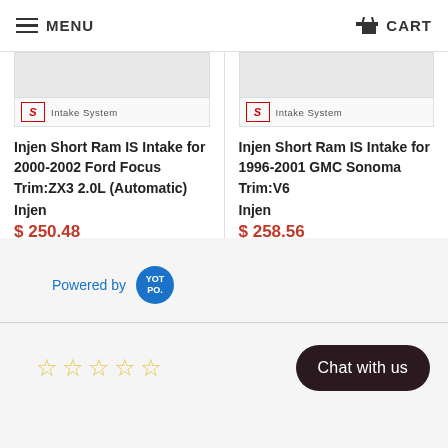MENU  CART
[Figure (screenshot): Product thumbnail for Injen Short Ram IS Intake - left product, showing S logo and Intake System label]
Injen Short Ram IS Intake for 2000-2002 Ford Focus Trim:ZX3 2.0L (Automatic)
Injen
$ 250.48
SKU: INJ-IS9001-P
[Figure (screenshot): Product thumbnail for Injen Short Ram IS Intake - right product, showing S logo and Intake System label]
Injen Short Ram IS Intake for 1996-2001 GMC Sonoma Trim:V6
Injen
$ 258.56
SKU: INJ-IS7020-P
Powered by  YOTPO.
☆☆☆☆☆
Chat with us